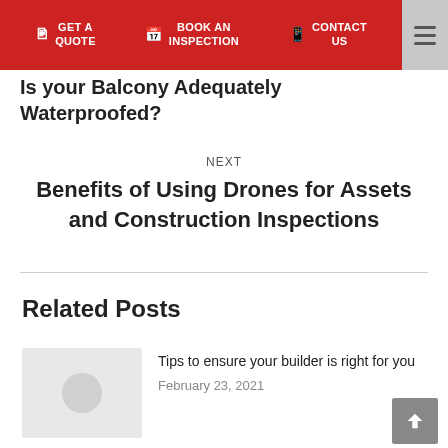GET A QUOTE | BOOK AN INSPECTION | CONTACT US
Is your Balcony Adequately Waterproofed?
NEXT
Benefits of Using Drones for Assets and Construction Inspections
Related Posts
Tips to ensure your builder is right for you
February 23, 2021